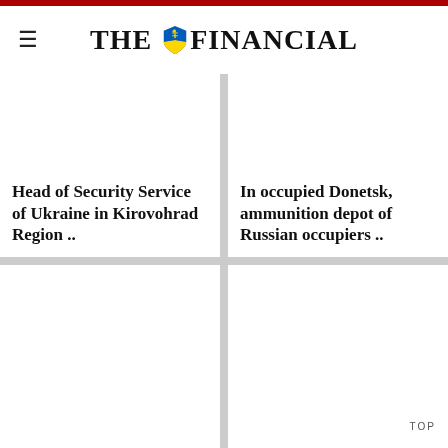THE FINANCIAL
Head of Security Service of Ukraine in Kirovohrad Region ..
In occupied Donetsk, ammunition depot of Russian occupiers ..
TOP